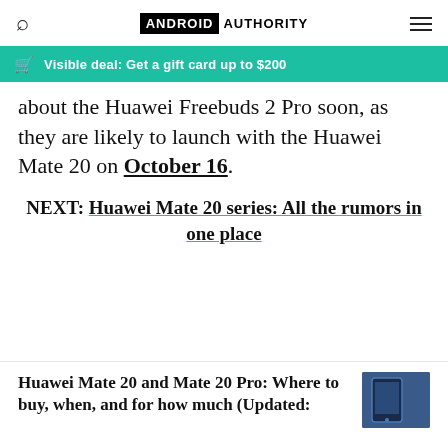ANDROID AUTHORITY
Visible deal: Get a gift card up to $200
about the Huawei Freebuds 2 Pro soon, as they are likely to launch with the Huawei Mate 20 on October 16.
NEXT: Huawei Mate 20 series: All the rumors in one place
Huawei Mate 20 and Mate 20 Pro: Where to buy, when, and for how much (Updated: